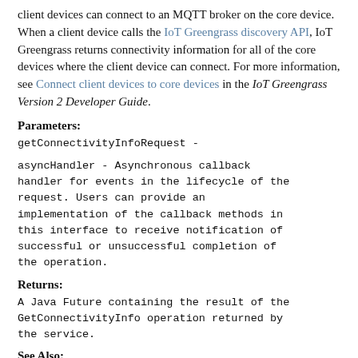client devices can connect to an MQTT broker on the core device. When a client device calls the IoT Greengrass discovery API, IoT Greengrass returns connectivity information for all of the core devices where the client device can connect. For more information, see Connect client devices to core devices in the IoT Greengrass Version 2 Developer Guide.
Parameters:
getConnectivityInfoRequest -
asyncHandler - Asynchronous callback handler for events in the lifecycle of the request. Users can provide an implementation of the callback methods in this interface to receive notification of successful or unsuccessful completion of the operation.
Returns:
A Java Future containing the result of the GetConnectivityInfo operation returned by the service.
See Also:
AWS API Documentation